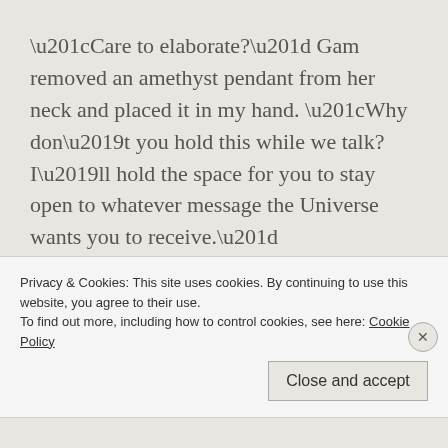“Care to elaborate?” Gam removed an amethyst pendant from her neck and placed it in my hand. “Why don’t you hold this while we talk? I’ll hold the space for you to stay open to whatever message the Universe wants you to receive.”
In Gam speak, “holding the space” meant that she’d call in her spiritual
Privacy & Cookies: This site uses cookies. By continuing to use this website, you agree to their use.
To find out more, including how to control cookies, see here: Cookie Policy